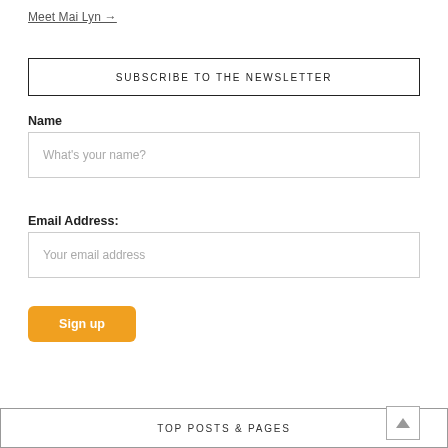Meet Mai Lyn →
SUBSCRIBE TO THE NEWSLETTER
Name
What's your name?
Email Address:
Your email address
Sign up
TOP POSTS & PAGES